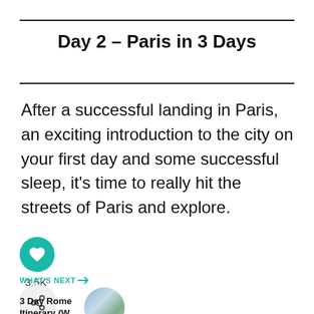Day 2 – Paris in 3 Days
After a successful landing in Paris, an exciting introduction to the city on your first day and some successful sleep, it's time to really hit the streets of Paris and explore.
[Figure (infographic): Like/heart button (teal circle with white heart icon) with count 3.5K below]
3.5K
[Figure (infographic): Share button (light circle with share icon)]
WHAT'S NEXT → 3 Day Rome Itinerary (W...
[Figure (photo): Circular thumbnail image of Rome itinerary]